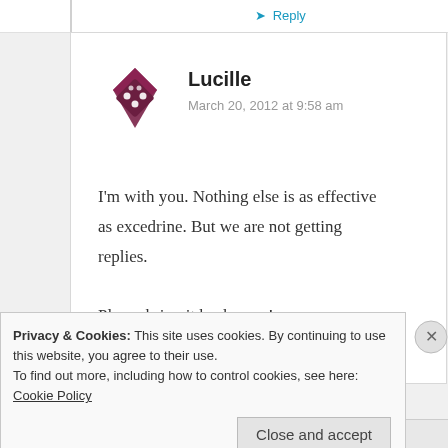Reply
[Figure (illustration): Burgundy/dark red abstract dice-like logo icon for user Lucille]
Lucille
March 20, 2012 at 9:58 am
I'm with you. Nothing else is as effective as excedrine. But we are not getting replies.
Please bring it back soon!
Privacy & Cookies: This site uses cookies. By continuing to use this website, you agree to their use.
To find out more, including how to control cookies, see here: Cookie Policy
Close and accept